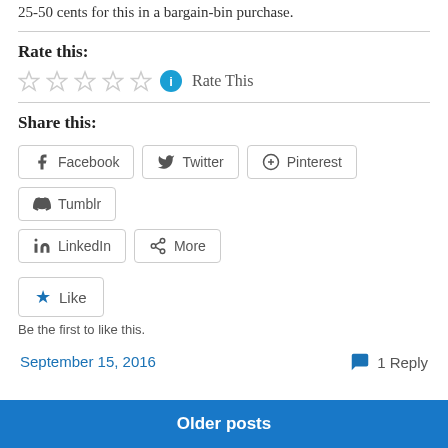25-50 cents for this in a bargain-bin purchase.
Rate this:
Rate This
Share this:
Facebook
Twitter
Pinterest
Tumblr
LinkedIn
More
Like
Be the first to like this.
September 15, 2016
1 Reply
Older posts